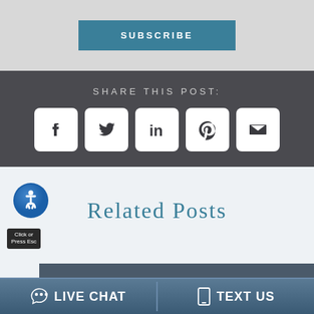SUBSCRIBE
SHARE THIS POST:
[Figure (infographic): Social media share icons: Facebook, Twitter, LinkedIn, Pinterest, Email — white rounded square icons on dark gray background]
Related Posts
[Figure (infographic): Accessibility icon (blue wheelchair symbol) with 'Click or Press Esc' label below]
LIVE CHAT
TEXT US